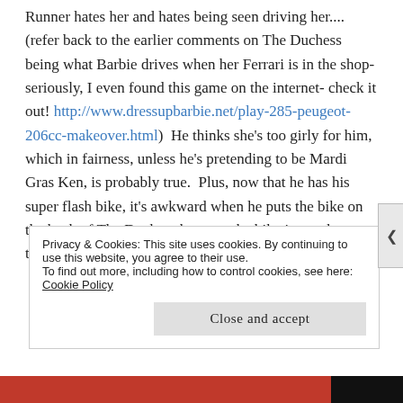Runner hates her and hates being seen driving her.... (refer back to the earlier comments on The Duchess being what Barbie drives when her Ferrari is in the shop- seriously, I even found this game on the internet- check it out! http://www.dressupbarbie.net/play-285-peugeot-206cc-makeover.html)  He thinks she's too girly for him, which in fairness, unless he's pretending to be Mardi Gras Ken, is probably true.  Plus, now that he has his super flash bike, it's awkward when he puts the bike on the back of The Duchess because the bike is worth more than her.  So The Runner has
Privacy & Cookies: This site uses cookies. By continuing to use this website, you agree to their use.
To find out more, including how to control cookies, see here: Cookie Policy
Close and accept